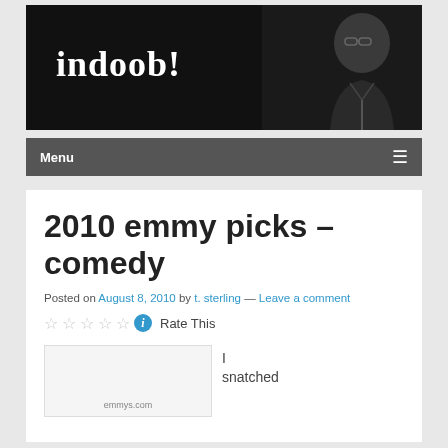[Figure (photo): Dark banner with the text 'indoob!' in white serif bold font on the left, and a black-and-white photo of a man wearing glasses on the right side]
Menu
2010 emmy picks – comedy
Posted on August 8, 2010 by t. sterling — Leave a comment
☆☆☆☆☆ ℹ Rate This
[Figure (screenshot): Small image placeholder showing emmys.com text at the bottom]
I snatched